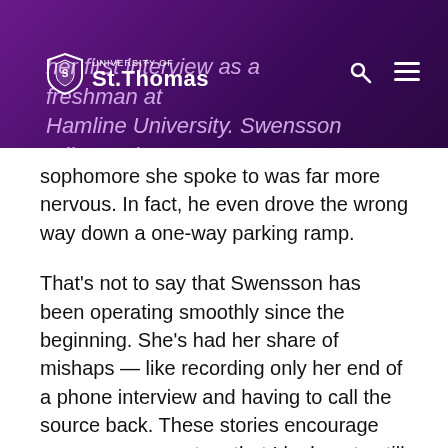University of St. Thomas — her first interview as a freshman at Hamline University. Swensson tells me the sophomore she spoke to was far more nervous.
sophomore she spoke to was far more nervous. In fact, he even drove the wrong way down a one-way parking ramp.
That's not to say that Swensson has been operating smoothly since the beginning. She's had her share of mishaps — like recording only her end of a phone interview and having to call the source back. These stories encourage me — even reporters that I look up to still make mistakes, and more importantly, it's OK. You fix them, and life goes on.
Swensson said that the hardest interviews are the kind we're about to embark on — situations involving disputes that jeopardize the local music scene. The community is expecting someone to report back.